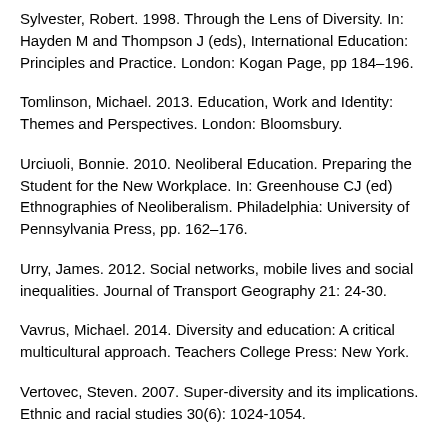Sylvester, Robert. 1998. Through the Lens of Diversity. In: Hayden M and Thompson J (eds), International Education: Principles and Practice. London: Kogan Page, pp 184–196.
Tomlinson, Michael. 2013. Education, Work and Identity: Themes and Perspectives. London: Bloomsbury.
Urciuoli, Bonnie. 2010. Neoliberal Education. Preparing the Student for the New Workplace. In: Greenhouse CJ (ed) Ethnographies of Neoliberalism. Philadelphia: University of Pennsylvania Press, pp. 162–176.
Urry, James. 2012. Social networks, mobile lives and social inequalities. Journal of Transport Geography 21: 24-30.
Vavrus, Michael. 2014. Diversity and education: A critical multicultural approach. Teachers College Press: New York.
Vertovec, Steven. 2007. Super-diversity and its implications. Ethnic and racial studies 30(6): 1024-1054.